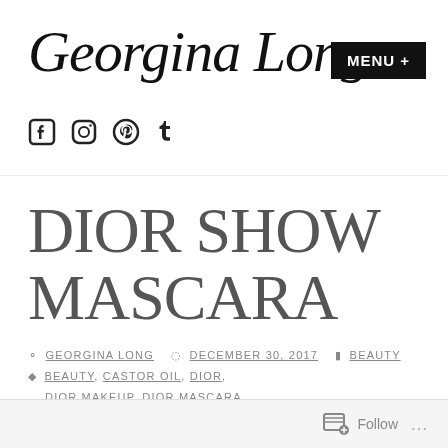Georgina Long
[Figure (other): MENU + button (navigation)]
[Figure (other): Social media icons: Facebook, Instagram, Pinterest, Tumblr]
DIOR SHOW MASCARA
GEORGINA LONG  DECEMBER 30, 2017  BEAUTY  BEAUTY, CASTOR OIL, DIOR, DIOR MAKEUP, DIOR MASCARA, DIOR SHOW MASCARA, EYES, LUXURY, MASCARA, PRODUCT
Follow